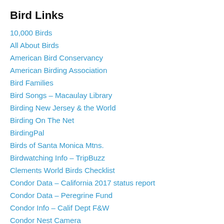Bird Links
10,000 Birds
All About Birds
American Bird Conservancy
American Birding Association
Bird Families
Bird Songs – Macaulay Library
Birding New Jersey & the World
Birding On The Net
BirdingPal
Birds of Santa Monica Mtns.
Birdwatching Info – TripBuzz
Clements World Birds Checklist
Condor Data – California 2017 status report
Condor Data – Peregrine Fund
Condor Info – Calif Dept F&W
Condor Nest Camera
Condor Recovery Program – USFWS
Cornell Lab of Ornithology